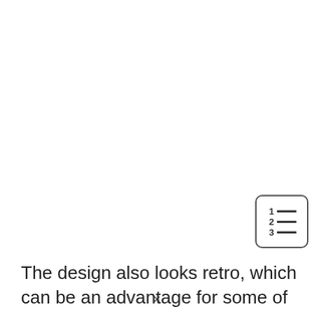[Figure (other): Numbered list icon inside a rounded rectangle border, showing numbers 1, 2, 3 with horizontal lines next to each number]
The design also looks retro, which can be an advantage for some of you. You get a keypad like the ones from the 80s and if you are nostalgic about garage door openers now